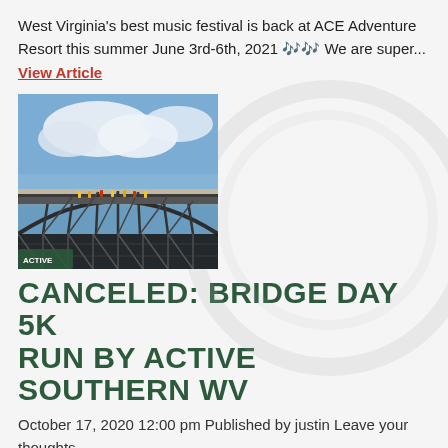West Virginia's best music festival is back at ACE Adventure Resort this summer June 3rd-6th, 2021 🎶🎶 We are super... View Article
[Figure (photo): Photo of the New River Gorge Bridge with people walking across it and a beach/river scene below.]
CANCELED: BRIDGE DAY 5K RUN BY ACTIVE SOUTHERN WV
October 17, 2020 12:00 pm Published by justin Leave your thoughts
Join us in October for a breath taking run across the New River Gorge Bridge. This unique race takes place...
View Article